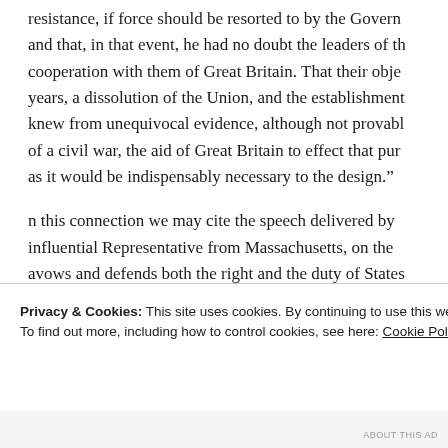resistance, if force should be resorted to by the Government and that, in that event, he had no doubt the leaders of the cooperation with them of Great Britain. That their objective, years, a dissolution of the Union, and the establishment knew from unequivocal evidence, although not provable of a civil war, the aid of Great Britain to effect that purpose as it would be indispensably necessary to the design.”
n this connection we may cite the speech delivered by influential Representative from Massachusetts, on the avows and defends both the right and the duty of States Congress pass the bill then pending before them, “to er Orleans to form a Constitution and State Government, a [Louisiana] into the Union on an equal footing with the
Privacy & Cookies: This site uses cookies. By continuing to use this website, you agree to their use.
To find out more, including how to control cookies, see here: Cookie Policy